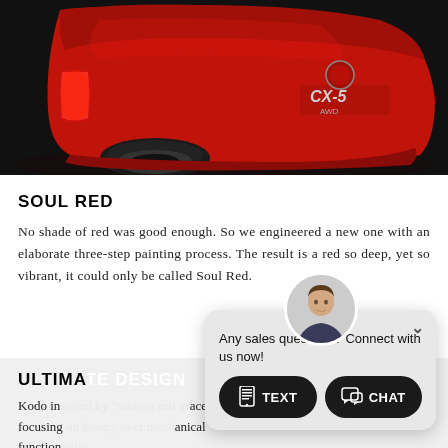[Figure (photo): Close-up photograph of the rear of a red Mazda CX-5 AWD vehicle with CX-5 badge visible, set against a dark background.]
SOUL RED
No shade of red was good enough. So we engineered a new one with an elaborate three-step painting process. The result is a red so deep, yet so vibrant, it could only be called Soul Red.
ULTIMA…
Kodo in… …ace," focusing… …anical function…
[Figure (screenshot): Live chat popup widget with avatar photo of a man, text 'Any sales questions? Connect with us now!' and two buttons: TEXT and CHAT.]